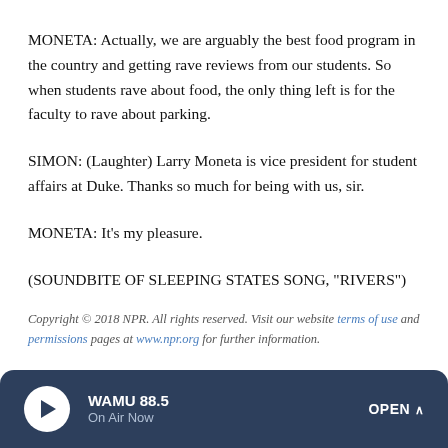MONETA: Actually, we are arguably the best food program in the country and getting rave reviews from our students. So when students rave about food, the only thing left is for the faculty to rave about parking.
SIMON: (Laughter) Larry Moneta is vice president for student affairs at Duke. Thanks so much for being with us, sir.
MONETA: It's my pleasure.
(SOUNDBITE OF SLEEPING STATES SONG, "RIVERS")
Copyright © 2018 NPR. All rights reserved. Visit our website terms of use and permissions pages at www.npr.org for further information.
WAMU 88.5 On Air Now OPEN ^